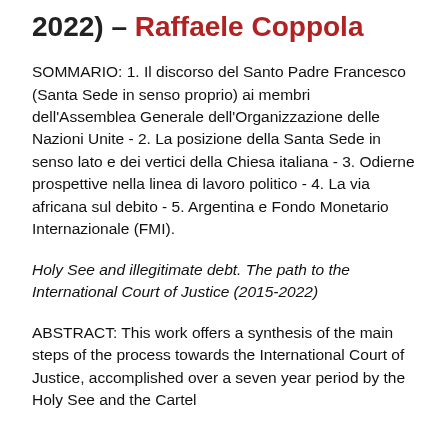2022) – Raffaele Coppola
SOMMARIO: 1. Il discorso del Santo Padre Francesco (Santa Sede in senso proprio) ai membri dell'Assemblea Generale dell'Organizzazione delle Nazioni Unite - 2. La posizione della Santa Sede in senso lato e dei vertici della Chiesa italiana - 3. Odierne prospettive nella linea di lavoro politico - 4. La via africana sul debito - 5. Argentina e Fondo Monetario Internazionale (FMI).
Holy See and illegitimate debt. The path to the International Court of Justice (2015-2022)
ABSTRACT: This work offers a synthesis of the main steps of the process towards the International Court of Justice, accomplished over a seven year period by the Holy See and the Cartel